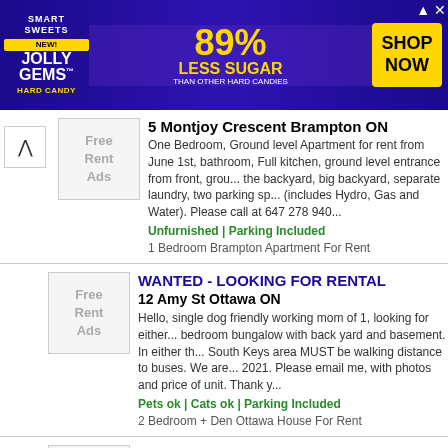[Figure (other): Smart Sweets Jolly Gems Hard Candy advertisement banner. Blue/purple background with colorful candy pieces. '89% LESS SUGAR THAN OTHER HARD CANDIES' in yellow text. 'SHOP NOW' yellow button in corner.]
5 Montjoy Crescent Brampton ON
One Bedroom, Ground level Apartment for rent from June 1st, bathroom, Full kitchen, ground level entrance from front, ground floor the backyard, big backyard, separate laundry, two parking spaces (includes Hydro, Gas and Water). Please call at 647 278 940...
Unfurnished | Parking Included
1 Bedroom Brampton Apartment For Rent
WANTED - LOOKING FOR RENTAL
12 Amy St Ottawa ON
Hello, single dog friendly working mom of 1, looking for either... bedroom bungalow with back yard and basement. In either the... South Keys area MUST be walking distance to buses. We are... 2021. Please email me, with photos and price of unit. Thank y...
Pets ok | Cats ok | Parking Included
2 Bedroom + Den Ottawa House For Rent
Room for Rent in Lowell
52 Hampshire St Lowell MA
Close to Transportation,shopping areas,Banks and Umass C...
No Pets
4 Bedroom Lowell Room For Rent
47 Jalan Nanas, Kawasan 18 Corner Lot For Rent
47 Jalan Nanas Klang Selangor
47-G size 28x75 Extra 8feet for parking at side 47-1 size 31x... 31x75 47-4 size 31x75 47-5 size 31x75 Roof Top size 31x75...